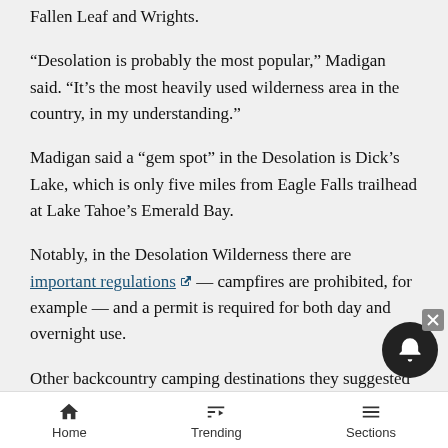Fallen Leaf and Wrights.
“Desolation is probably the most popular,” Madigan said. “It’s the most heavily used wilderness area in the country, in my understanding.”
Madigan said a “gem spot” in the Desolation is Dick’s Lake, which is only five miles from Eagle Falls trailhead at Lake Tahoe’s Emerald Bay.
Notably, in the Desolation Wilderness there are important regulations — campfires are prohibited, for example — and a permit is required for both day and overnight use.
Other backcountry camping destinations they suggested are the Velma Lakes on the Southwest Shore; Frog Lake, a mere mile hike from Conner Pass on the South Shore; Mt. Rose Wilderness — 30,000
Home   Trending   Sections